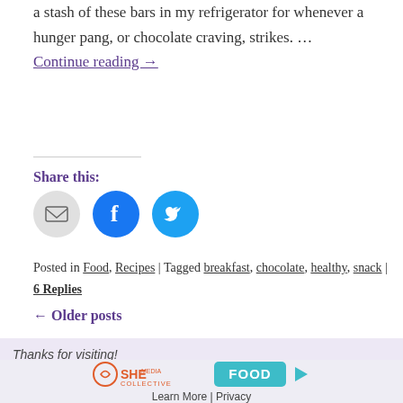a stash of these bars in my refrigerator for whenever a hunger pang, or chocolate craving, strikes. … Continue reading →
Share this:
[Figure (infographic): Three social share buttons: email (grey circle with envelope icon), Facebook (blue circle with f logo), Twitter (cyan circle with bird logo)]
Posted in Food, Recipes | Tagged breakfast, chocolate, healthy, snack | 6 Replies
← Older posts
Thanks for visiting!
[Figure (logo): SHE Media Collective FOOD advertisement banner with Learn More | Privacy links]